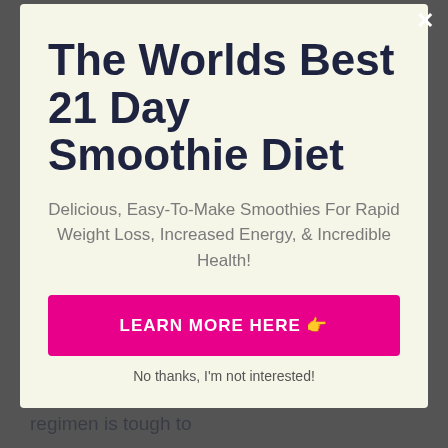whenever you wish to drop weight, however there is minimal research study to suggest that a healthy smoothie diet is an efficient technique for weight
The Worlds Best 21 Day Smoothie Diet
Delicious, Easy-To-Make Smoothies For Rapid Weight Loss, Increased Energy, & Incredible Health!
LEARN MORE HERE 👉
No thanks, I'm not interested!
provide the ideal equilibrium of calories, protein, carbs, and also healthy fats the body requires. Any type of meal-replacement diet regimen is tough to